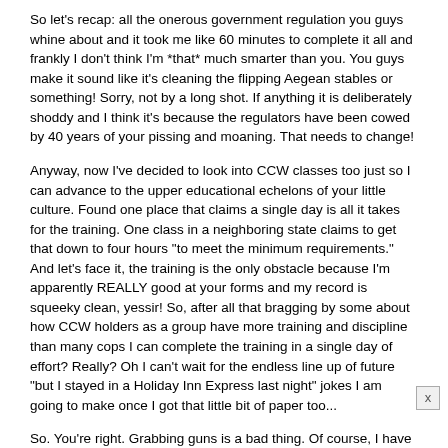So let's recap: all the onerous government regulation you guys whine about and it took me like 60 minutes to complete it all and frankly I don't think I'm *that* much smarter than you. You guys make it sound like it's cleaning the flipping Aegean stables or something! Sorry, not by a long shot. If anything it is deliberately shoddy and I think it's because the regulators have been cowed by 40 years of your pissing and moaning. That needs to change!
Anyway, now I've decided to look into CCW classes too just so I can advance to the upper educational echelons of your little culture. Found one place that claims a single day is all it takes for the training. One class in a neighboring state claims to get that down to four hours "to meet the minimum requirements." And let's face it, the training is the only obstacle because I'm apparently REALLY good at your forms and my record is squeeky clean, yessir! So, after all that bragging by some about how CCW holders as a group have more training and discipline than many cops I can complete the training in a single day of effort? Really? Oh I can't wait for the endless line up of future "but I stayed in a Holiday Inn Express last night" jokes I am going to make once I got that little bit of paper too...
So. You're right. Grabbing guns is a bad thing. Of course, I have yet to see anyone actually seriously propose it but I figure you see it as a required starting position in a negotiation to "prevent the slippery slope" and all that. But I think training should have a minimum 80 hour supervised requirement including hands-on practicum before a person allowed to even buy a 22 in Walmart. Including a RIGOROUS test at th